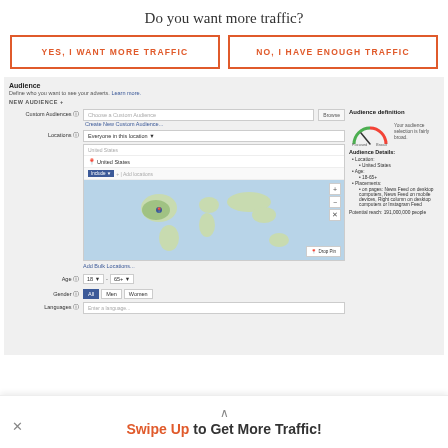Do you want more traffic?
YES, I WANT MORE TRAFFIC
NO, I HAVE ENOUGH TRAFFIC
[Figure (screenshot): Facebook Ads audience targeting interface showing custom audience, location (United States), age (18-65+), gender (All/Men/Women), languages fields, a world map with United States pin, and Audience Definition panel with gauge meter showing 'fairly broad', Audience Details: Location: United States, Age: 18-65+, Placements: on pages: News Feed on desktop computers, News Feed on mobile devices, Right column on desktop computers or Instagram Feed. Potential reach: 191,000,000 people.]
Swipe Up to Get More Traffic!